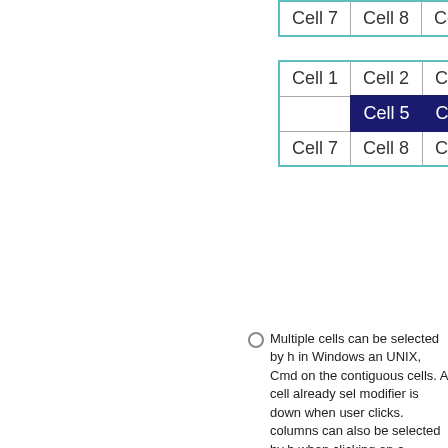[Figure (other): Partial table showing Cell 7, Cell 8, Cell 9 row with teal border at top of page]
[Figure (other): Table with 3x3 grid. Cells: Cell 1, Cell 2, Cell 3 in row 1; empty, Cell 5 (selected/highlighted dark blue), Cell 6 in row 2; Cell 7, Cell 8, Cell 9 in row 3. Teal outer border.]
Multiple cells can be selected by h in Windows an UNIX, Cmd on the contiguous cells. A cell already sel modifier is down when user clicks. columns can also be selected by h when clicking on a second row or initial selection. (You cannot unsel however.)
Another way to select multiple cell then drag into a neighboring cell -- the first cell, any text selected is u selection mode." As the mouse is is still down, a set of cells can be s with the initial cell as the upper lef cursor as the lower-right cell in the
Multiple columns or rows can also appropriate area to select the initi